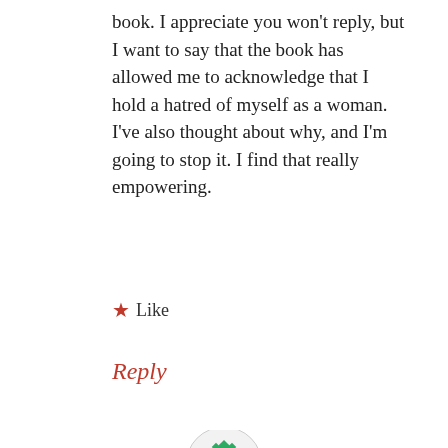book. I appreciate you won't reply, but I want to say that the book has allowed me to acknowledge that I hold a hatred of myself as a woman. I've also thought about why, and I'm going to stop it. I find that really empowering.
★ Like
Reply
[Figure (logo): Green decorative snowflake/quatrefoil logo in a light grey circle]
Privacy & Cookies: This site uses cookies. By continuing to use this website, you agree to their use. To find out more, including how to control cookies, see here: Cookie Policy
Close and accept